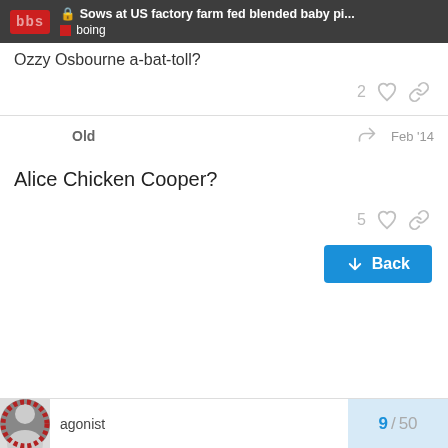🔒 Sows at US factory farm fed blended baby pi... | boing
Ozzy Osbourne a-bat-toll?
2 ♡ 🔗
Old  ↩  Feb '14
Alice Chicken Cooper?
5 ♡ 🔗
↓ Back
agonist   9 / 50